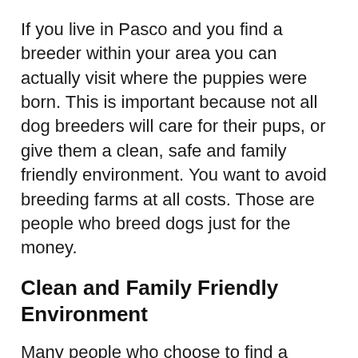If you live in Pasco and you find a breeder within your area you can actually visit where the puppies were born. This is important because not all dog breeders will care for their pups, or give them a clean, safe and family friendly environment. You want to avoid breeding farms at all costs. Those are people who breed dogs just for the money.
Clean and Family Friendly Environment
Many people who choose to find a breeder do so for a few reasons. Some dogs are more family friendly than others. Some are looking for hypoallergenic dogs, which allows them to